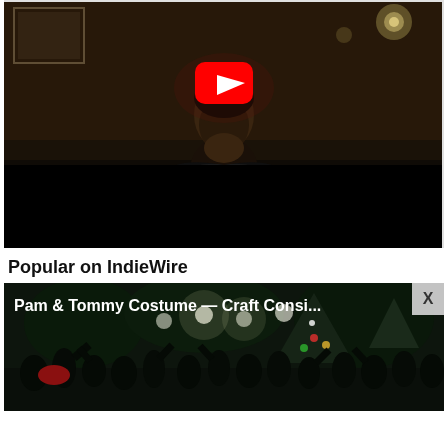[Figure (screenshot): YouTube video thumbnail showing a man sitting in a dimly lit scene with a red YouTube play button overlay]
Popular on IndieWire
[Figure (screenshot): Video thumbnail for 'Pam & Tommy Costume — Craft Consi...' showing a crowd at a nighttime event with string lights]